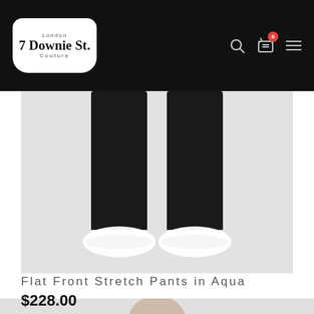7 Downie St. London Couture — navigation bar with logo, search, cart (0), menu
[Figure (photo): E-commerce product photo showing lower portion of model wearing dark pants with white sneakers on light grey background]
Flat Front Stretch Pants in Aqua
$228.00
[Figure (photo): E-commerce product photo showing male model wearing a light-colored outfit, cropped to head and upper torso on light grey background]